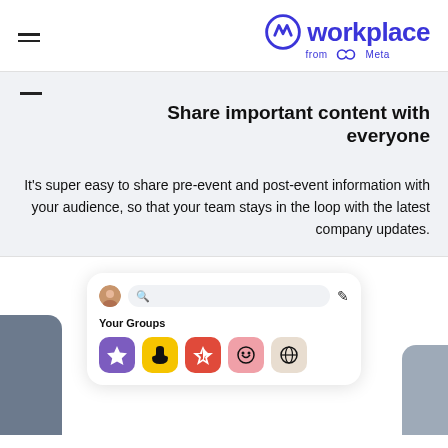Workplace from Meta
Share important content with everyone
It's super easy to share pre-event and post-event information with your audience, so that your team stays in the loop with the latest company updates.
[Figure (screenshot): Mobile app screenshot showing Workplace groups interface with search bar, avatar, Your Groups label, and colorful group icons (purple star, yellow hand, red lightning, pink chat, beige globe). Grey side shapes flank the card.]